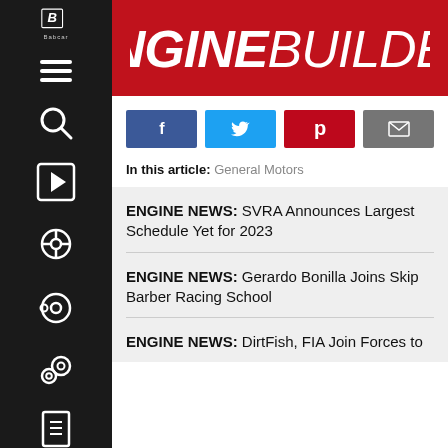ENGINE BUILDER
[Figure (logo): Engine Builder magazine logo in white italic text on red background]
[Figure (infographic): Social share buttons: Facebook, Twitter, Pinterest, Email]
In this article: General Motors
ENGINE NEWS: SVRA Announces Largest Schedule Yet for 2023
ENGINE NEWS: Gerardo Bonilla Joins Skip Barber Racing School
ENGINE NEWS: DirtFish, FIA Join Forces to